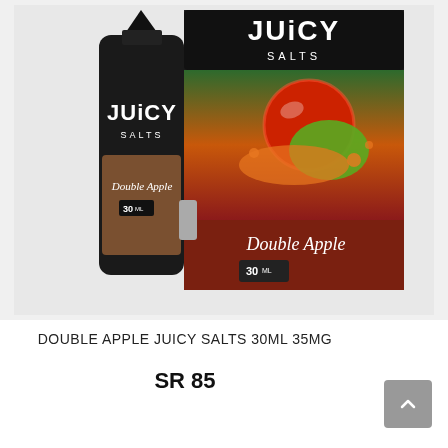[Figure (photo): Product photo showing Juicy Salts Double Apple 30ML e-liquid bottle (black cylindrical bottle with Juicy Salts branding) next to its packaging box (dark background with red/green apple splash imagery and 'Double Apple' text). Both show 30ML label and Juicy Salts branding.]
DOUBLE APPLE JUICY SALTS 30ML 35MG
SR 85